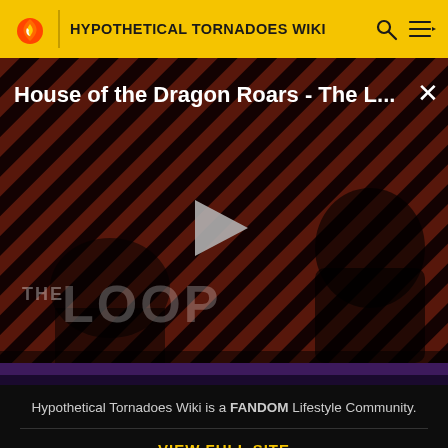HYPOTHETICAL TORNADOES WIKI
[Figure (screenshot): Video player overlay showing 'House of the Dragon Roars - The L...' with a play button in the center, striped red and black background, 'THE LOOP' text watermark, and NaN:NaN duration badge]
Hypothetical Tornadoes Wiki is a FANDOM Lifestyle Community.
VIEW FULL SITE